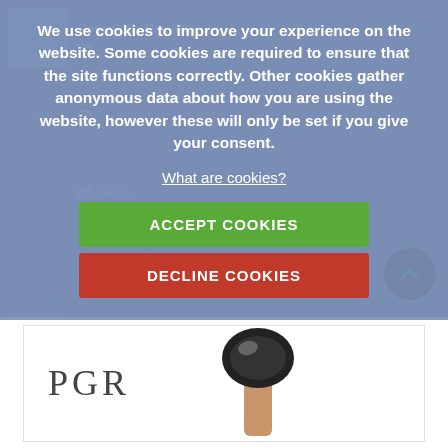[Figure (screenshot): Background medical case list page with blurred case thumbnails and dates, overlaid with cookie consent dialog]
We use cookies to improve your experience on the website. Some cookies are required to ensure that the site functions correctly. Other cookies gather anonymous data about how you are using the website, however these will only be set if you give your consent.
What are cookies?
ACCEPT COOKIES
DECLINE COOKIES
Case 002 - Andresia...
11-09-16
[Figure (logo): PGR logo with product image (golf club or similar implement) on white card at bottom of page]